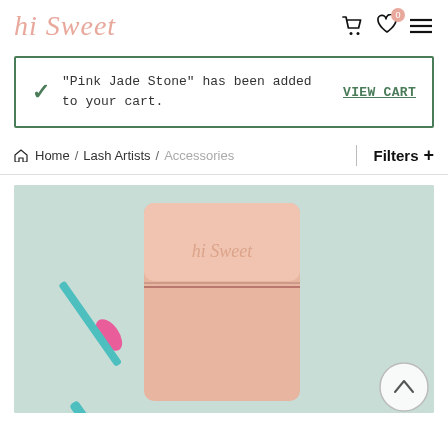hi Sweet — navigation header with cart, wishlist, and menu icons
"Pink Jade Stone" has been added to your cart.
VIEW CART
Home / Lash Artists / Accessories
Filters +
[Figure (photo): Product photo of a Pink Jade Stone (peach/rose gold rectangular stone) with a pink and teal spoolie brush on a sage green background. The stone has 'hi Sweet' embossed on it.]